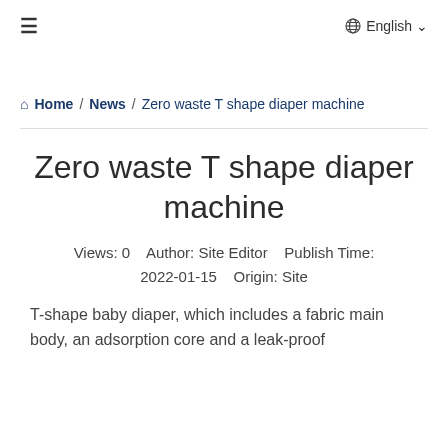≡  English ∨
Home / News / Zero waste T shape diaper machine
Zero waste T shape diaper machine
Views: 0    Author: Site Editor    Publish Time: 2022-01-15    Origin: Site
T-shape baby diaper, which includes a fabric main body, an adsorption core and a leak-proof